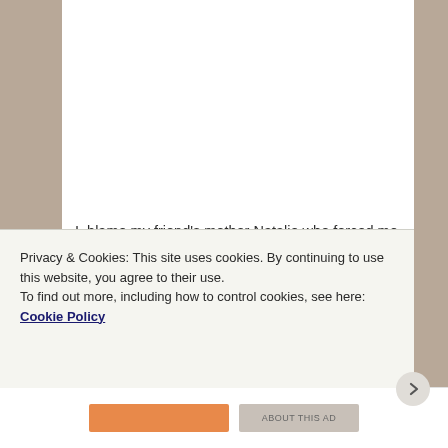I blame my friend's mother Natalie who forced me to eat it at their home one day when I was a young teenager. This family was very strict and very rule conscious, believe me. When I politely refused to eat the salmon mousse for lunch she did not give up. Nor did she say, "I understand, have a peanut butter sandwich." She then lied and said that" it was tuna, her mistake." There was absolutely no choice in this household, I'd still be sitting there, hunched over, 42 years later if I hadn't gulped it down, quickly throwing back whatever beverage was at hand. Believe
Privacy & Cookies: This site uses cookies. By continuing to use this website, you agree to their use.
To find out more, including how to control cookies, see here: Cookie Policy
Close and accept